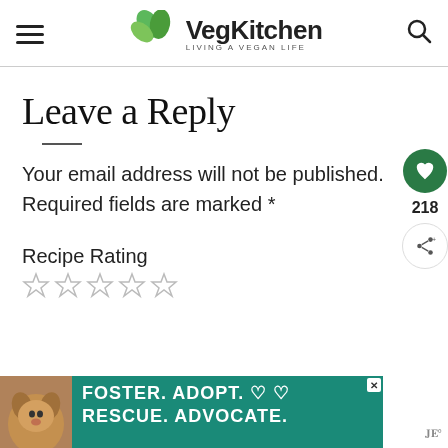VegKitchen — LIVING A VEGAN LIFE
Leave a Reply
Your email address will not be published. Required fields are marked *
Recipe Rating
[Figure (other): Five empty star rating icons]
[Figure (other): Advertisement banner: dog photo with text FOSTER. ADOPT. RESCUE. ADVOCATE.]